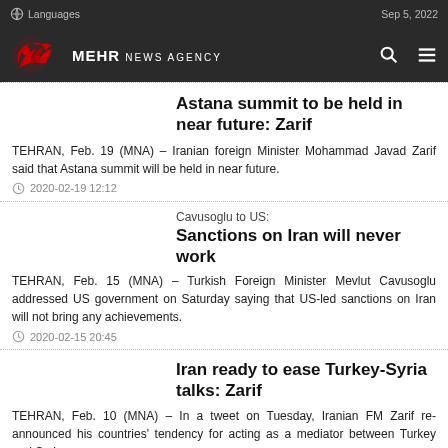Languages | Sep 5, 2022 | MEHR NEWS AGENCY
Astana summit to be held in near future: Zarif
TEHRAN, Feb. 19 (MNA) – Iranian foreign Minister Mohammad Javad Zarif said that Astana summit will be held in near future.
2020-02-19 12:12
Cavusoglu to US:
Sanctions on Iran will never work
TEHRAN, Feb. 15 (MNA) – Turkish Foreign Minister Mevlut Cavusoglu addressed US government on Saturday saying that US-led sanctions on Iran will not bring any achievements.
2020-02-15 20:45
Iran ready to ease Turkey-Syria talks: Zarif
TEHRAN, Feb. 10 (MNA) – In a tweet on Tuesday, Iranian FM Zarif re-announced his countries' tendency for acting as a mediator between Turkey and Syria.